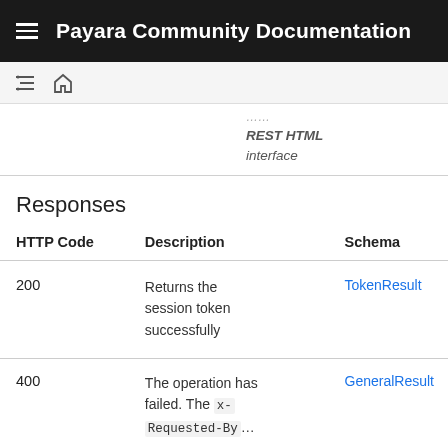Payara Community Documentation
REST HTML interface
Responses
| HTTP Code | Description | Schema |
| --- | --- | --- |
| 200 | Returns the session token successfully | TokenResult |
| 400 | The operation has failed. The x-Requested-By... | GeneralResult |